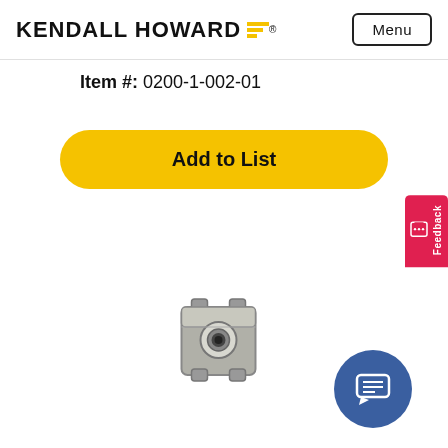KENDALL HOWARD
Item #: 0200-1-002-01
Add to List
[Figure (photo): Metal cage nut hardware component, small square metallic nut with center hole and spring clip tabs]
[Figure (other): Blue circular chat/feedback button icon with speech bubble]